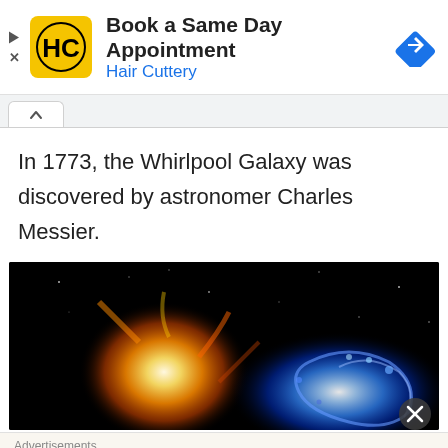[Figure (infographic): Hair Cuttery advertisement banner with yellow HC logo, 'Book a Same Day Appointment' heading, 'Hair Cuttery' subtext in blue, and a blue navigation arrow diamond icon on the right. Play and X controls on the left.]
[Figure (screenshot): Browser tab bar with a caret/chevron up icon in a white tab]
In 1773, the Whirlpool Galaxy was discovered by astronomer Charles Messier.
[Figure (photo): Space photo on black background showing two galaxies — one with bright orange/yellow fiery core on the left, and a blue spiral galaxy on the right with colorful star clusters. A close button (X) appears at the bottom right.]
Advertisements
[Figure (infographic): WordPress advertisement: 'Need a website quickly – and on a budget?' with WordPress circular W logo on the right. Light beige background. 'REPORT THIS AD' link at bottom right.]